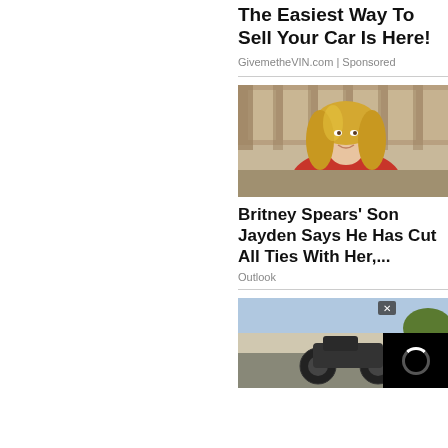The Easiest Way To Sell Your Car Is Here!
GivemetheVIN.com | Sponsored
[Figure (photo): Woman with blonde hair wearing red top in a living room setting]
Britney Spears' Son Jayden Says He Has Cut All Ties With Her,...
Outlook
[Figure (photo): Motorcycle/scooter photo with black video overlay in bottom-right corner with loading spinner and X close button]